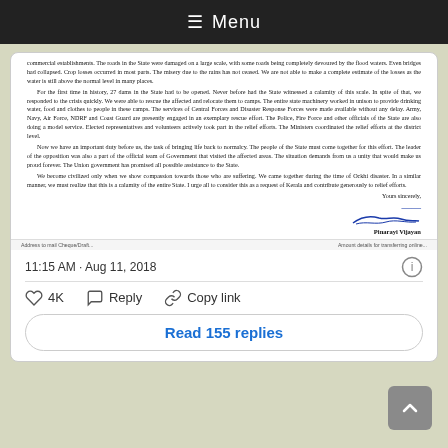☰ Menu
commercial establishments. The roads in the State were damaged on a large scale, with some roads being completely devoured by the flood waters. Even bridges had collapsed. Crop losses occurred in most parts. The misery due to the rains has not ceased. We are not able to make a complete estimate of the losses as the water is still above the normal level in many places.

For the first time in history, 27 dams in the State had to be opened. Never before had the State witnessed a calamity of this scale. In spite of that, we responded to the crisis quickly. We were able to rescue the affected and relocate them to camps. The entire state machinery worked in unison to provide drinking water, food and clothes to people in these camps. The services of Central Forces and Disaster Response Forces were made available without any delay. Army, Navy, Air Force, NDRF and Coast Guard are presently engaged in an exemplary rescue effort. The Police, Fire Force and other officials of the State are also doing a model service. Elected representatives and volunteers actively took part in the relief efforts. The Ministers coordinated the relief efforts at the district level.

Now we have an important duty before us, the task of bringing life back to normalcy. The people of the State must come together for this effort. The leader of the opposition was also a part of the official team of Government that visited the affected areas. The situation demands from us a unity that would make us proud forever. The Union government has promised all possible assistance to the State.

We become civilized only when we show compassion towards those who are suffering. We came together during the time of Ockhi disaster. In a similar manner, we must realize that this is a calamity of the entire State. I urge all to consider this as a request of Kerala and contribute generously to relief efforts.

Yours sincerely,
Pinarayi Vijayan
11:15 AM · Aug 11, 2018
4K   Reply   Copy link
Read 155 replies